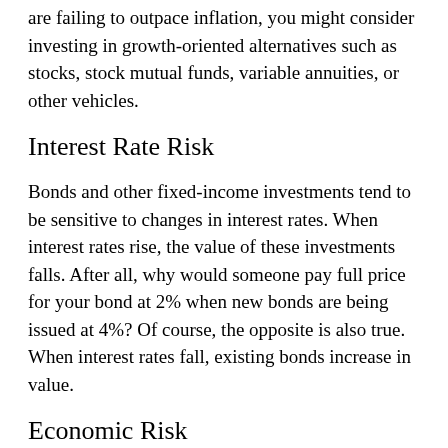are failing to outpace inflation, you might consider investing in growth-oriented alternatives such as stocks, stock mutual funds, variable annuities, or other vehicles.
Interest Rate Risk
Bonds and other fixed-income investments tend to be sensitive to changes in interest rates. When interest rates rise, the value of these investments falls. After all, why would someone pay full price for your bond at 2% when new bonds are being issued at 4%? Of course, the opposite is also true. When interest rates fall, existing bonds increase in value.
Economic Risk
When the economy experiences a downturn, the earnings capabilities of most firms are threatened. While some industries and companies adjust to downturns in the economy very well, others — particularly large industrial firms — take longer to